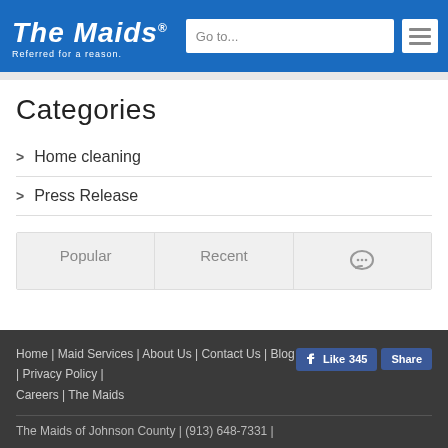The Maids — Referred for a reason. | Go to... | [menu]
Categories
> Home cleaning
> Press Release
[Figure (other): Tab bar with three tabs: Popular, Recent, and a comment/chat icon tab]
Home | Maid Services | About Us | Contact Us | Blog | Privacy Policy | Careers | The Maids   [Like 345] [Share]
The Maids of Johnson County | (913) 648-7331 |